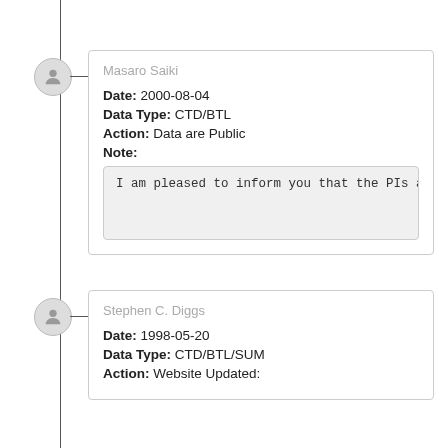Masaro Saiki
Date: 2000-08-04
Data Type: CTD/BTL
Action: Data are Public
Note:
I am pleased to inform you that the PIs and
Stephen C. Diggs
Date: 1998-05-20
Data Type: CTD/BTL/SUM
Action: Website Updated: